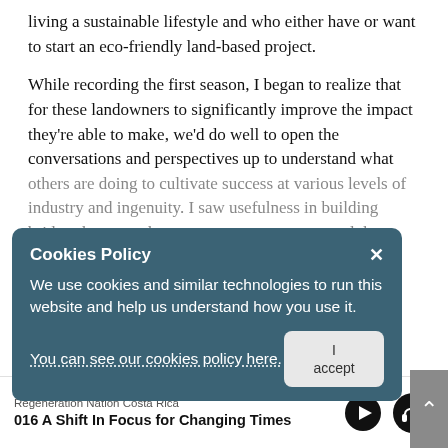living a sustainable lifestyle and who either have or want to start an eco-friendly land-based project.
While recording the first season, I began to realize that for these landowners to significantly improve the impact they're able to make, we'd do well to open the conversations and perspectives up to understand what others are doing to cultivate success at various levels of industry and ingenuity. I saw usefulness in building bridges between the grass-roots movements and those focused on larger-scale impact.
Cookies Policy
We use cookies and similar technologies to run this website and help us understand how you use it.
You can see our cookies policy here.
Regeneration Nation Costa Rica
016 A Shift In Focus for Changing Times